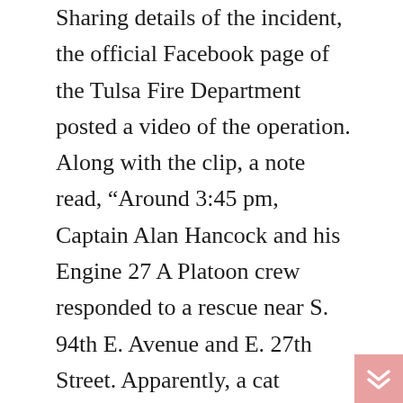Sharing details of the incident, the official Facebook page of the Tulsa Fire Department posted a video of the operation. Along with the clip, a note read, “Around 3:45 pm, Captain Alan Hancock and his Engine 27 A Platoon crew responded to a rescue near S. 94th E. Avenue and E. 27th Street. Apparently, a cat climbed high up into a tree. Its owner was so concerned for the feline that he climbed up to attempt a rescue. Unfortunately, they both found themselves in a dangerous predicament high above the ground, unable to get down safely.”
Upon accessing the parameters, the team asked for an aerial device from the Ladder 27 crew. The